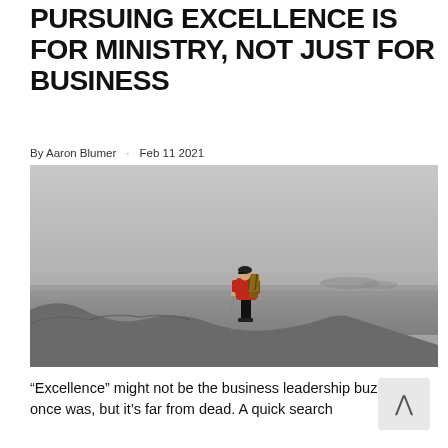PURSUING EXCELLENCE IS FOR MINISTRY, NOT JUST FOR BUSINESS
By Aaron Blumer · Feb 11 2021
[Figure (photo): A person in a red jacket with a backpack stands on the edge of a rocky cliff overlooking a misty grey landscape and sea below.]
“Excellence” might not be the business leadership buzzword it once was, but it’s far from dead. A quick search